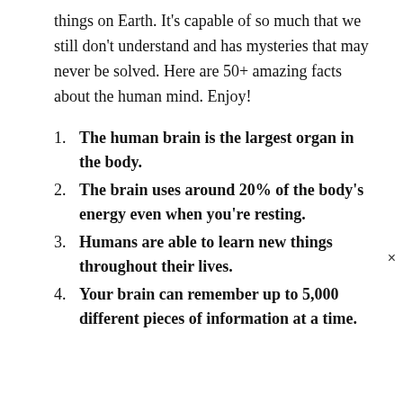things on Earth. It's capable of so much that we still don't understand and has mysteries that may never be solved. Here are 50+ amazing facts about the human mind. Enjoy!
The human brain is the largest organ in the body.
The brain uses around 20% of the body's energy even when you're resting.
Humans are able to learn new things throughout their lives.
Your brain can remember up to 5,000 different pieces of information at a time.